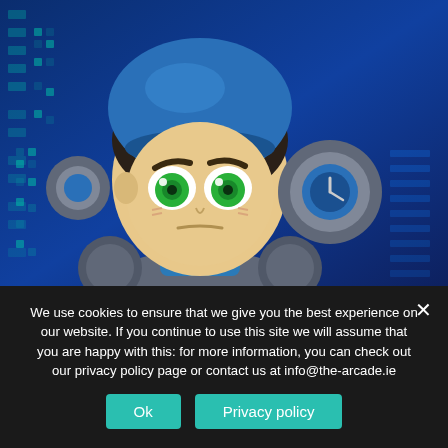[Figure (illustration): Anime-style cartoon character with large green eyes, blue helmet/headgear, gray armor suit, against a blue digital binary code background. The character has a serious expression and is a video game-style mascot.]
We use cookies to ensure that we give you the best experience on our website. If you continue to use this site we will assume that you are happy with this: for more information, you can check out our privacy policy page or contact us at info@the-arcade.ie